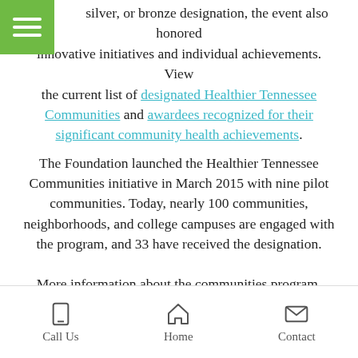silver, or bronze designation, the event also honored innovative initiatives and individual achievements. View the current list of designated Healthier Tennessee Communities and awardees recognized for their significant community health achievements.
The Foundation launched the Healthier Tennessee Communities initiative in March 2015 with nine pilot communities. Today, nearly 100 communities, neighborhoods, and college campuses are engaged with the program, and 33 have received the designation.
More information about the communities program, including a list of participating cities and counties and other Healthier Tennessee® initiatives, like the Small Starts® suite of interactive wellness tools, is available at healthierTN.com.
Call Us | Home | Contact